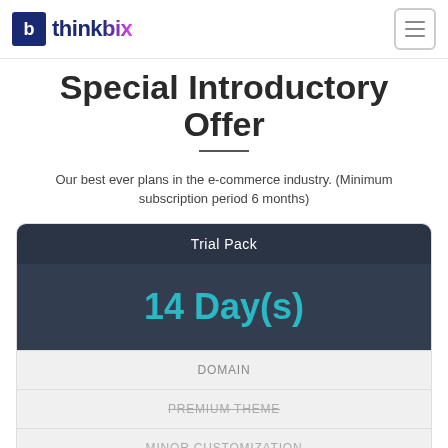thinkbix
Special Introductory Offer
Our best ever plans in the e-commerce industry. (Minimum subscription period 6 months)
Trial Pack
14 Day(s)
DOMAIN
PREMIUM THEME
MINOR CUSTOMIZATION